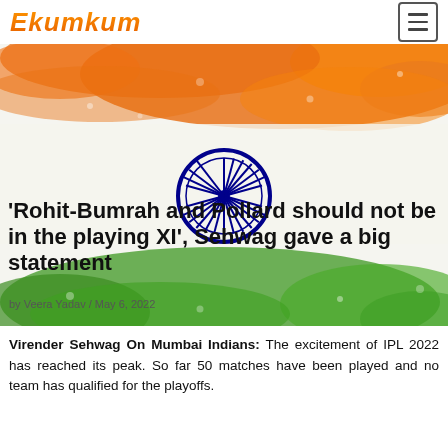Ekumkum
[Figure (illustration): Indian national flag watercolor/paint splash background with saffron at top, white in middle, green at bottom, and Ashoka Chakra (blue wheel) in center]
'Rohit-Bumrah and Pollard should not be in the playing XI', Sehwag gave a big statement
by Veera Yadav / May 6, 2022
Virender Sehwag On Mumbai Indians: The excitement of IPL 2022 has reached its peak. So far 50 matches have been played and no team has qualified for the playoffs.